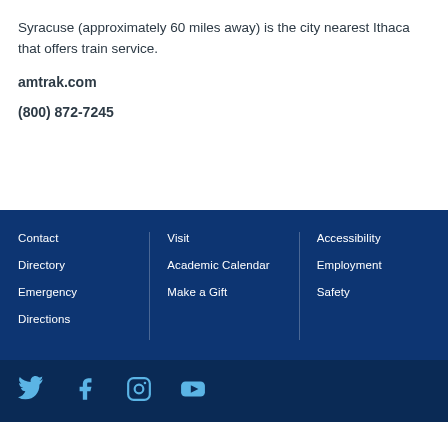Syracuse (approximately 60 miles away) is the city nearest Ithaca that offers train service.
amtrak.com
(800) 872-7245
Contact
Directory
Emergency
Directions
Visit
Academic Calendar
Make a Gift
Accessibility
Employment
Safety
Twitter, Facebook, Instagram, YouTube social media icons